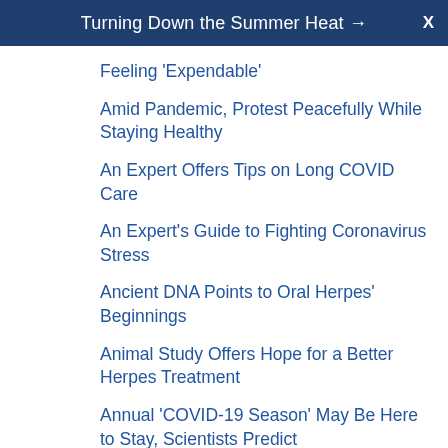Turning Down the Summer Heat →  X
Feeling 'Expendable'
Amid Pandemic, Protest Peacefully While Staying Healthy
An Expert Offers Tips on Long COVID Care
An Expert's Guide to Fighting Coronavirus Stress
Ancient DNA Points to Oral Herpes' Beginnings
Animal Study Offers Hope for a Better Herpes Treatment
Annual 'COVID-19 Season' May Be Here to Stay, Scientists Predict
Another Coronavirus Health Threat: Too Few Asthma Inhalers
Another COVID-19 Symptom Joins the List: Mouth Rash